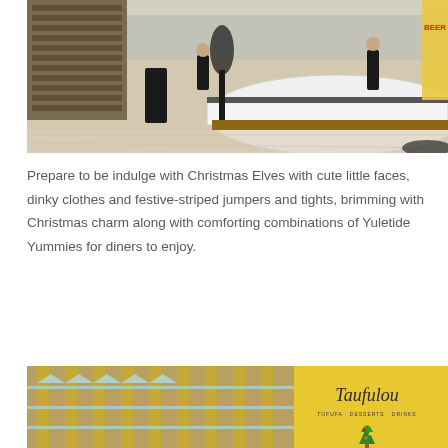[Figure (photo): Interior of a modern restaurant or hotel lobby with a large curved white reception/bar counter, wine shelves in background, staff and guests visible, marble flooring, warm lighting]
Prepare to be indulge with Christmas Elves with cute little faces, dinky clothes and festive-striped jumpers and tights, brimming with Christmas charm along with comforting combinations of Yuletide Yummies for diners to enjoy.
[Figure (photo): Split image: left side shows golden/bronze vertical metal columns with glass shelves in a restaurant interior; right side shows a restaurant sign reading 'Taufulou' with a Christmas tree display]